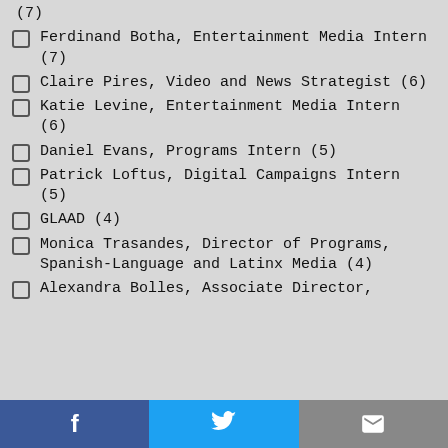(7)
Ferdinand Botha, Entertainment Media Intern (7)
Claire Pires, Video and News Strategist (6)
Katie Levine, Entertainment Media Intern (6)
Daniel Evans, Programs Intern (5)
Patrick Loftus, Digital Campaigns Intern (5)
GLAAD (4)
Monica Trasandes, Director of Programs, Spanish-Language and Latinx Media (4)
Alexandra Bolles, Associate Director,
f  🐦  ✉